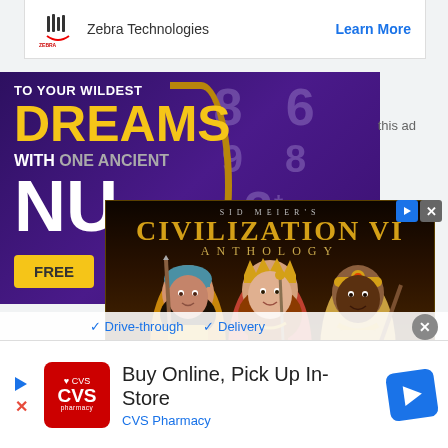[Figure (screenshot): Zebra Technologies advertisement card with logo and Learn More link]
[Figure (screenshot): Purple numerology advertisement with text TO YOUR WILDEST DREAMS WITH ONE ANCIENT NU and FREE button]
this ad
[Figure (screenshot): Sid Meier's Civilization VI Anthology game advertisement with three animated characters and BUY NOW button]
Drive-through  Delivery
[Figure (screenshot): CVS Pharmacy advertisement: Buy Online, Pick Up In-Store with CVS logo and navigation arrow icon]